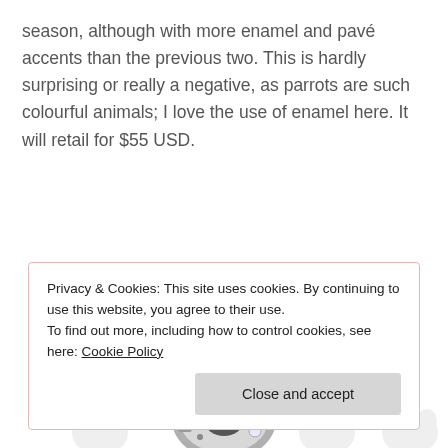season, although with more enamel and pavé accents than the previous two. This is hardly surprising or really a negative, as parrots are such colourful animals; I love the use of enamel here. It will retail for $55 USD.
[Figure (illustration): Pandora summer collection 2016 preview - tropical parrot charm. Handwritten text labels and a product photo of a silver sparkle clip charm with pavé crystals, overlaid with repeated watermark logos.]
Privacy & Cookies: This site uses cookies. By continuing to use this website, you agree to their use.
To find out more, including how to control cookies, see here: Cookie Policy
Close and accept